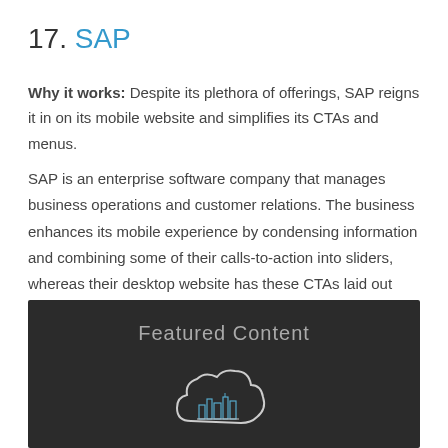17. SAP
Why it works: Despite its plethora of offerings, SAP reigns it in on its mobile website and simplifies its CTAs and menus.
SAP is an enterprise software company that manages business operations and customer relations. The business enhances its mobile experience by condensing information and combining some of their calls-to-action into sliders, whereas their desktop website has these CTAs laid out horizontally.
[Figure (screenshot): Dark-themed screenshot of SAP mobile website showing 'Featured Content' header and a cloud icon illustration with cityscape]